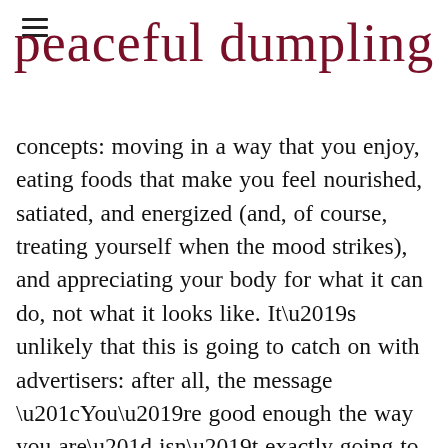peaceful dumpling
concepts: moving in a way that you enjoy, eating foods that make you feel nourished, satiated, and energized (and, of course, treating yourself when the mood strikes), and appreciating your body for what it can do, not what it looks like. It’s unlikely that this is going to catch on with advertisers: after all, the message “You’re good enough the way you are” isn’t exactly going to persuade people to buy more products. And the message “Just stick with some basic healthy habits and go easy on yourself” isn’t a catchy marketing slogan. Our society can make it seem complicated, but the concept is fairly